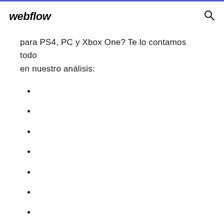webflow
para PS4, PC y Xbox One? Te lo contamos todo en nuestro análisis: